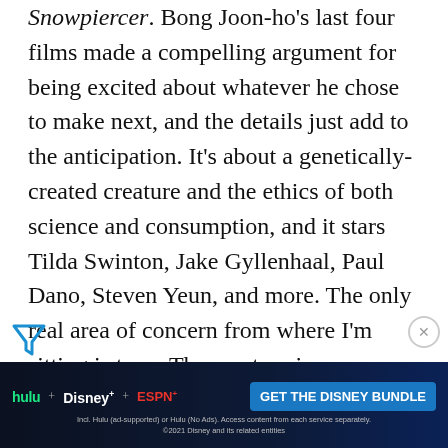Snowpiercer. Bong Joon-ho's last four films made a compelling argument for being excited about whatever he chose to make next, and the details just add to the anticipation. It's about a genetically-created creature and the ethics of both science and consumption, and it stars Tilda Swinton, Jake Gyllenhaal, Paul Dano, Steven Yeun, and more. The only real area of concern from where I'm sitting is tone. The creature is befriended by a young child, and the risk is that the pair's adventure may end up being a bit too cutesy to actually be all that engaging and affecting. Hopefully Bong avoids that trap and instead... he
[Figure (other): Advertisement banner for Disney Bundle (Hulu, Disney+, ESPN+) with blue background and 'GET THE DISNEY BUNDLE' call-to-action button, fine print below.]